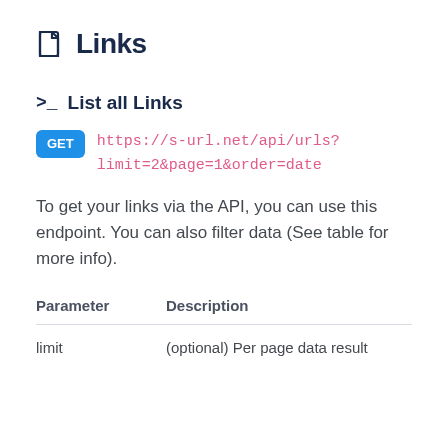Links
List all Links
https://s-url.net/api/urls?limit=2&page=1&order=date
To get your links via the API, you can use this endpoint. You can also filter data (See table for more info).
| Parameter | Description |
| --- | --- |
| limit | (optional) Per page data result |